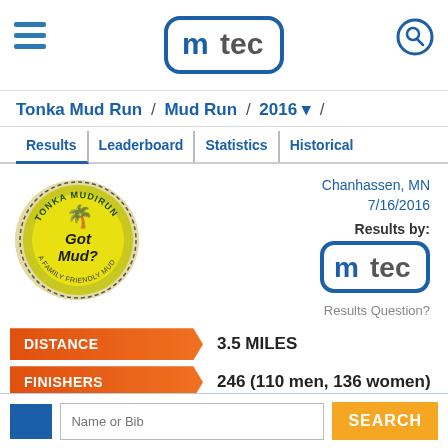[Figure (logo): mtec logo in blue rounded rectangle at top center of page]
Tonka Mud Run / Mud Run / 2016
Results | Leaderboard | Statistics | Historical
[Figure (logo): Tonka Mud Run circular logo with Got Mud? text on yellow/green background]
Chanhassen, MN
7/16/2016
Results by:
[Figure (logo): mtec logo in blue rounded rectangle]
Results Question?
DISTANCE
3.5 MILES
FINISHERS
246 (110 men, 136 women)
AVERAGE TIME
48:02
Name or Bib
SEARCH